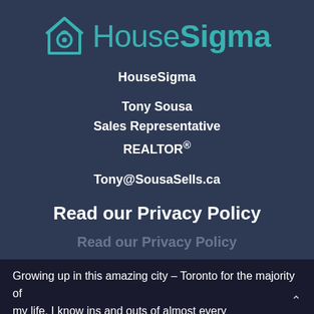[Figure (logo): HouseSigma logo with teal house/camera icon and teal text 'HouseSigma']
HouseSigma
Tony Sousa
Sales Representative
REALTOR®
Tony@SousaSells.ca
Read our Privacy Policy
Read our Privacy Policy
Growing up in this amazing city – Toronto for the majority of my life. I know ins and outs of almost every neighbourhood in the city and surrounding areas. You can find my